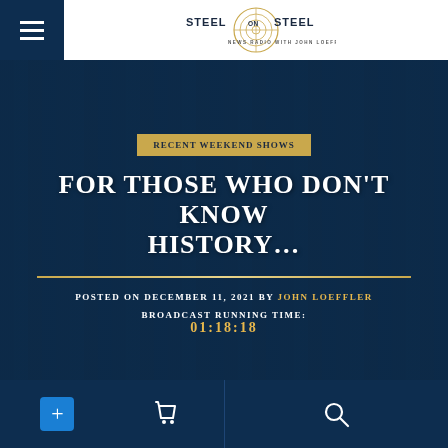[Figure (logo): Steel on Steel logo — circular target graphic with 'STEEL ON STEEL' text and 'NEWS RADIO WITH JOHN LOEFFLER' subtitle]
[Figure (screenshot): Website screenshot of Steel on Steel radio show page. Dark blue background with blurred bookshelf image. Contains a gold badge labeled 'RECENT WEEKEND SHOWS', a white bold title 'FOR THOSE WHO DON'T KNOW HISTORY...', a gold/cream divider line, post metadata 'POSTED ON DECEMBER 11, 2021 BY JOHN LOEFFLER' (author in gold), and 'BROADCAST RUNNING TIME: 01:18:18' with the time in gold.]
RECENT WEEKEND SHOWS
FOR THOSE WHO DON'T KNOW HISTORY...
POSTED ON DECEMBER 11, 2021 BY JOHN LOEFFLER
BROADCAST RUNNING TIME: 01:18:18